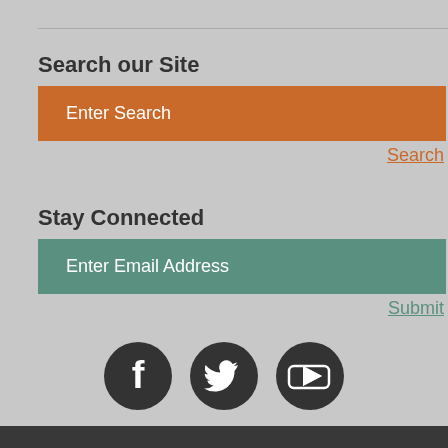Search our Site
[Figure (screenshot): Orange search input box with placeholder text 'Enter Search']
Search
Stay Connected
[Figure (screenshot): Teal/green email input box with placeholder text 'Enter Email Address']
Submit
[Figure (infographic): Social media icons: Facebook, Twitter, YouTube in dark circular buttons]